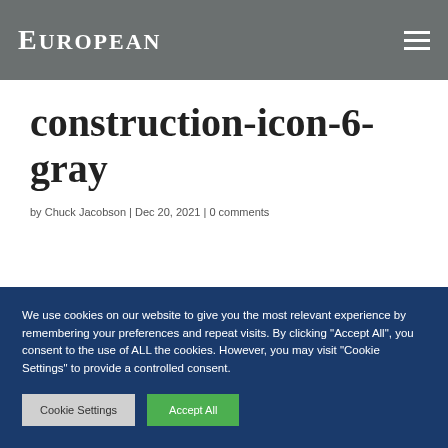EUROPEAN
construction-icon-6-gray
by Chuck Jacobson | Dec 20, 2021 | 0 comments
We use cookies on our website to give you the most relevant experience by remembering your preferences and repeat visits. By clicking "Accept All", you consent to the use of ALL the cookies. However, you may visit "Cookie Settings" to provide a controlled consent.